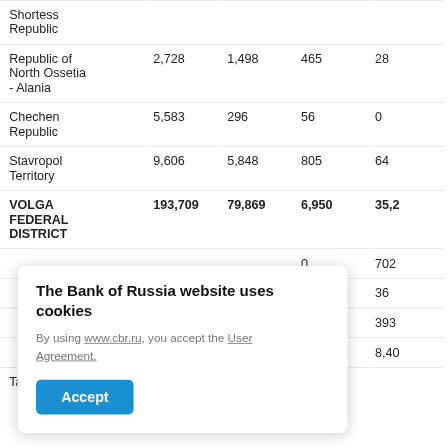| Region | Col1 | Col2 | Col3 | Col4 |
| --- | --- | --- | --- | --- |
| Shortess Republic (partial) |  |  |  |  |
| Republic of North Ossetia - Alania | 2,728 | 1,498 | 465 | 28 |
| Chechen Republic | 5,583 | 296 | 56 | 0 |
| Stavropol Territory | 9,606 | 5,848 | 805 | 64 |
| VOLGA FEDERAL DISTRICT | 193,709 | 79,869 | 6,950 | 35,2… |
| (partial) | …0 |  |  | 702 |
| (partial) |  |  | …5 | 36 |
| (partial) |  |  | …9 | 393 |
| (partial) |  |  | …1 | 8,40… |
| Tatarstan (partial) |  |  |  |  |
The Bank of Russia website uses cookies
By using www.cbr.ru, you accept the User Agreement.
Accept